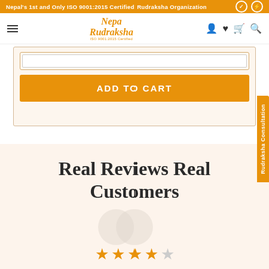Nepal's 1st and Only ISO 9001:2015 Certified Rudraksha Organization
[Figure (screenshot): NepaRudraksha logo with italic orange text and ISO certification subtitle]
[Figure (screenshot): Textarea input field for product customization]
[Figure (screenshot): Orange ADD TO CART button]
[Figure (screenshot): Rudraksha Consultation vertical side tab in orange]
Real Reviews Real Customers
[Figure (illustration): Large decorative quote mark circles and 4 orange star ratings at bottom of page]